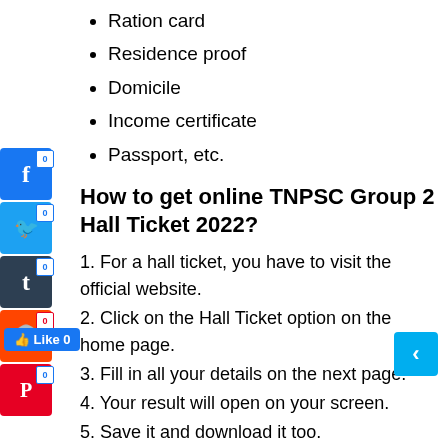Ration card
Residence proof
Domicile
Income certificate
Passport, etc.
How to get online TNPSC Group 2 Hall Ticket 2022?
1. For a hall ticket, you have to visit the official website.
2. Click on the Hall Ticket option on the home page.
3. Fill in all your details on the next page.
4. Your result will open on your screen.
5. Save it and download it too.
6. Do not forget to take the print copy for the exam.
If you want to ask anything about TNPSC Group 2 Hall Ticket